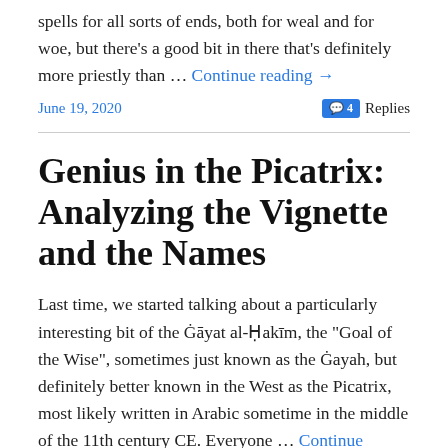spells for all sorts of ends, both for weal and for woe, but there's a good bit in there that's definitely more priestly than … Continue reading →
June 19, 2020
4 Replies
Genius in the Picatrix: Analyzing the Vignette and the Names
Last time, we started talking about a particularly interesting bit of the Ġāyat al-Ḥakīm, the "Goal of the Wise", sometimes just known as the Ġayah, but definitely better known in the West as the Picatrix, most likely written in Arabic sometime in the middle of the 11th century CE. Everyone … Continue reading →